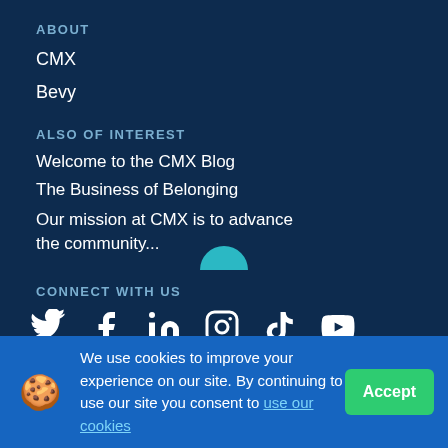ABOUT
CMX
Bevy
ALSO OF INTEREST
Welcome to the CMX Blog
The Business of Belonging
Our mission at CMX is to advance the community...
CONNECT WITH US
[Figure (infographic): Social media icons: Twitter, Facebook, LinkedIn, Instagram, TikTok, YouTube]
We use cookies to improve your experience on our site. By continuing to use our site you consent to use our cookies